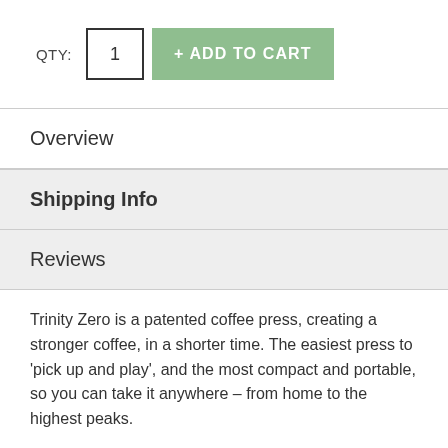QTY: 1 + ADD TO CART
Overview
Shipping Info
Reviews
Trinity Zero is a patented coffee press, creating a stronger coffee, in a shorter time. The easiest press to 'pick up and play', and the most compact and portable, so you can take it anywhere – from home to the highest peaks.
Features:
– Brews in Under 60 Seconds.